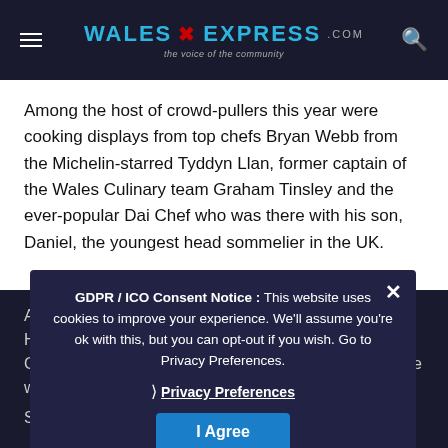WALES EXPRESS — the voice of the community
Among the host of crowd-pullers this year were cooking displays from top chefs Bryan Webb from the Michelin-starred Tyddyn Llan, former captain of the Wales Culinary team Graham Tinsley and the ever-popular Dai Chef who was there with his son, Daniel, the youngest head sommelier in the UK.
A special event to mark the festival's closeness to Halloween was the World Pumpkin Carving Championship champion Simon O'Rourke who tours the world using a chainsaw to create stunning sculptures in wood.
GDPR / ICO Consent Notice : This website uses cookies to improve your experience. We'll assume you're ok with this, but you can opt-out if you wish. Go to Privacy Preferences. Privacy Preferences I Agree
Simon said: "It's been going extremely well and we've